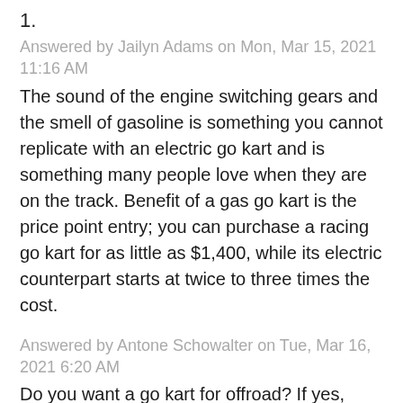1.
Answered by Jailyn Adams on Mon, Mar 15, 2021 11:16 AM
The sound of the engine switching gears and the smell of gasoline is something you cannot replicate with an electric go kart and is something many people love when they are on the track. Benefit of a gas go kart is the price point entry; you can purchase a racing go kart for as little as $1,400, while its electric counterpart starts at twice to three times the cost.
Answered by Antone Schowalter on Tue, Mar 16, 2021 6:20 AM
Do you want a go kart for offroad? If yes, then you need to get a roll cage with an offroad chassis. Do you want your kart to have a reverse gear? If yes,